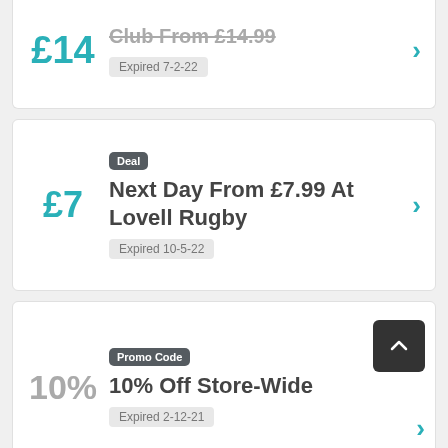£14
Club From £14.99
Expired 7-2-22
£7
Deal
Next Day From £7.99 At Lovell Rugby
Expired 10-5-22
10%
Promo Code
10% Off Store-Wide
Expired 2-12-21